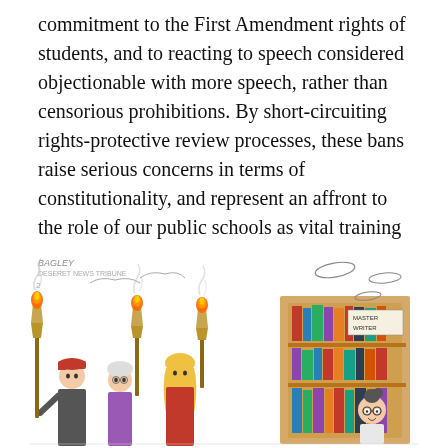commitment to the First Amendment rights of students, and to reacting to speech considered objectionable with more speech, rather than censorious prohibitions. By short-circuiting rights-protective review processes, these bans raise serious concerns in terms of constitutionality, and represent an affront to the role of our public schools as vital training grounds for democratic citizenship that instill a commitment to freedom of speech and thought."
[Figure (illustration): Editorial cartoon (BAGLEY / DESERET NEWS TRIBUNE) showing a group of people carrying tiki torches approaching a library bookshelf, with a frightened librarian peeking out from behind the shelves. A sign on the shelf reads 'MASTER WRITER'. The scene evokes book banning imagery.]